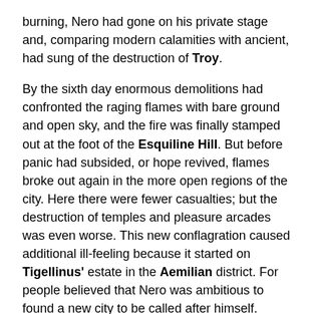burning, Nero had gone on his private stage and, comparing modern calamities with ancient, had sung of the destruction of Troy.
By the sixth day enormous demolitions had confronted the raging flames with bare ground and open sky, and the fire was finally stamped out at the foot of the Esquiline Hill. But before panic had subsided, or hope revived, flames broke out again in the more open regions of the city. Here there were fewer casualties; but the destruction of temples and pleasure arcades was even worse. This new conflagration caused additional ill-feeling because it started on Tigellinus' estate in the Aemilian district. For people believed that Nero was ambitious to found a new city to be called after himself.
Of Rome's fourteen districts only four remained intact. Three were leveled to the ground. The other seven were reduced